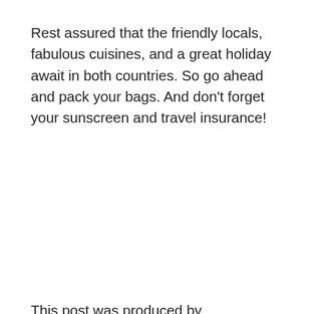Rest assured that the friendly locals, fabulous cuisines, and a great holiday await in both countries. So go ahead and pack your bags. And don't forget your sunscreen and travel insurance!
This post was produced by Savoteur and syndicated by Wealth of Geeks.
Further Reading
search text